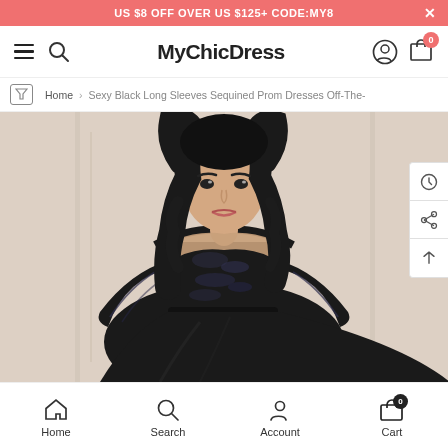US $8 OFF OVER US $125+ CODE:MY8
MyChicDress
Home > Sexy Black Long Sleeves Sequined Prom Dresses Off-The-
[Figure (photo): A woman wearing a black sequined long-sleeve off-the-shoulder prom dress, posing against a light-colored paneled wall background.]
Home  Search  Account  Cart